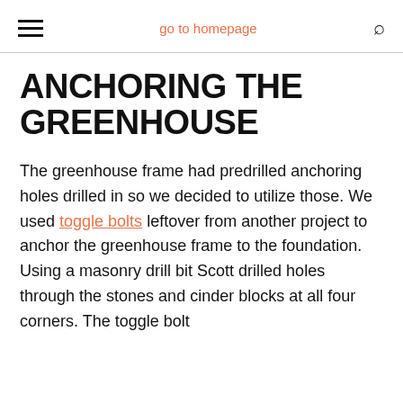go to homepage
ANCHORING THE GREENHOUSE
The greenhouse frame had predrilled anchoring holes drilled in so we decided to utilize those. We used toggle bolts leftover from another project to anchor the greenhouse frame to the foundation. Using a masonry drill bit Scott drilled holes through the stones and cinder blocks at all four corners. The toggle bolt